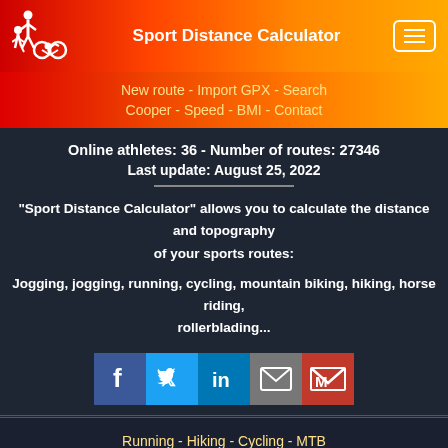Sport Distance Calculator
New route - Import GPX - Search
Cooper - Speed - BMI - Contact
Online athletes: 36  -  Number of routes: 27346
Last update: August 25, 2022
"Sport Distance Calculator" allows you to calculate the distance and topography of your sports routes:
Jogging, jogging, running, cycling, mountain biking, hiking, horse riding, rollerblading...
[Figure (infographic): Row of 5 social media share buttons: Facebook (blue), Twitter (light blue), LinkedIn (dark blue), Email/Mail (grey), Gmail (red)]
Running - Hiking - Cycling - MTB